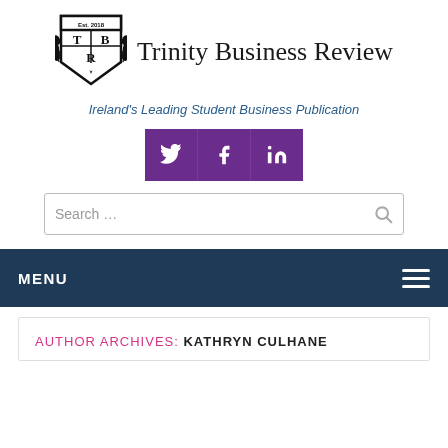[Figure (logo): Trinity Business Review shield logo with Est. 2018, TBR initials, and laurel wreath]
Trinity Business Review
Ireland's Leading Student Business Publication
[Figure (infographic): Three purple social media buttons: Twitter, Facebook, LinkedIn]
Search ...
MENU
AUTHOR ARCHIVES: KATHRYN CULHANE